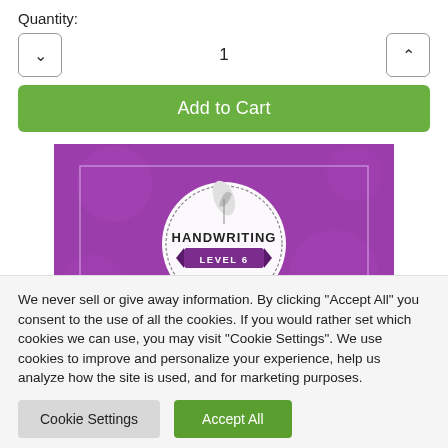Quantity:
[Figure (screenshot): Quantity selector with decrement (chevron down) button on left, value '1' in center, increment (chevron up) button on right, and a green 'Add to Cart' button below]
[Figure (photo): Product image showing a purple book cover with 'HANDWRITING LEVEL 6' text and a quill pen logo in a circular badge]
We never sell or give away information. By clicking "Accept All" you consent to the use of all the cookies. If you would rather set which cookies we can use, you may visit "Cookie Settings". We use cookies to improve and personalize your experience, help us analyze how the site is used, and for marketing purposes.
Cookie Settings
Accept All